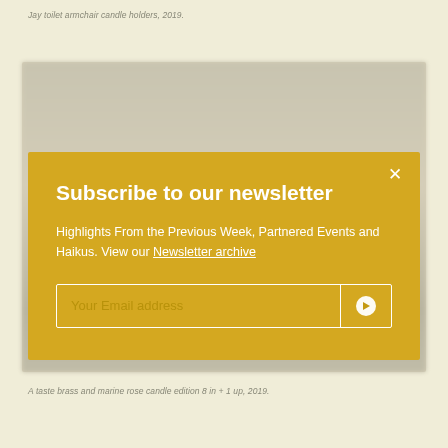Jay toilet armchair candle holders, 2019.
[Figure (photo): Blurred background photograph of interior/furniture in muted beige and grey tones]
Subscribe to our newsletter
Highlights From the Previous Week, Partnered Events and Haikus. View our Newsletter archive
A taste brass and marine rose candle edition 8 in + 1 up, 2019.